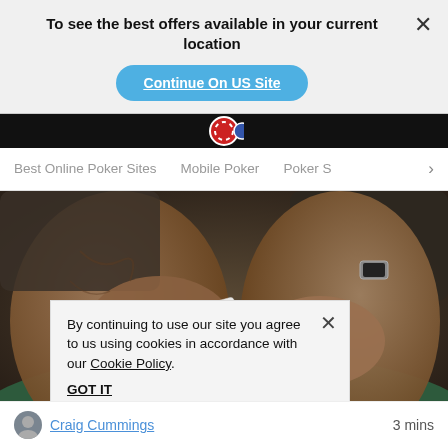To see the best offers available in your current location
Continue On US Site
Best Online Poker Sites   Mobile Poker   Poker S
[Figure (photo): Hands shuffling playing cards on a green poker table, close-up photography]
By continuing to use our site you agree to us using cookies in accordance with our Cookie Policy.
GOT IT
Craig Cummings
3 mins